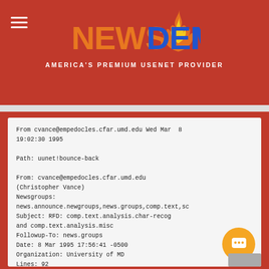NEWSDEMON — AMERICA'S PREMIUM USENET PROVIDER
From cvance@empedocles.cfar.umd.edu Wed Mar  8 19:02:30 1995
Path: uunet!bounce-back
From: cvance@empedocles.cfar.umd.edu
(Christopher Vance)
Newsgroups:
news.announce.newgroups,news.groups,comp.text,sc
Subject: RFD: comp.text.analysis.char-recog
and comp.text.analysis.misc
Followup-To: news.groups
Date: 8 Mar 1995 17:56:41 -0500
Organization: University of MD
Lines: 92
Sender: tale@uunet.uu.net